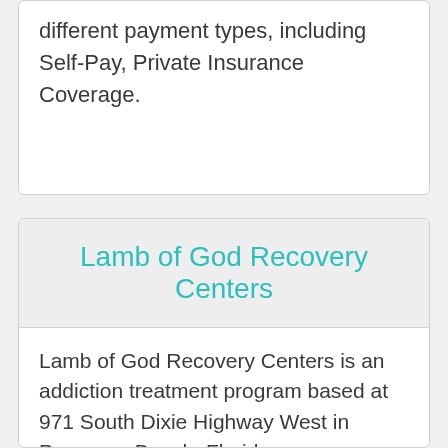different payment types, including Self-Pay, Private Insurance Coverage.
Lamb of God Recovery Centers
Lamb of God Recovery Centers is an addiction treatment program based at 971 South Dixie Highway West in Pompano Beach, Florida.
The primary treatment approaches at this center include Behavioral Therapy, Relapse Prevention Programs, 12-Step Support Group Therapy Approach. The center also offers its services in different environments,